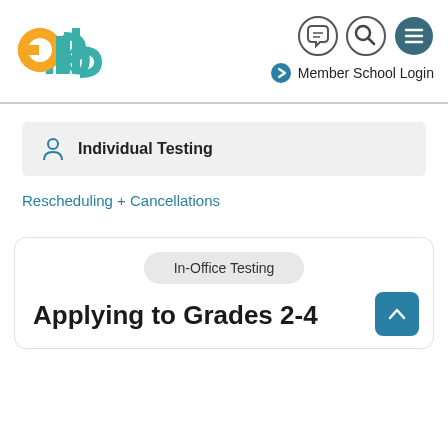[Figure (logo): ERB logo with orange 'e', teal 'r' and 'b' letterforms]
[Figure (screenshot): Header icons: chat bubble circle, search circle, hamburger menu circle (dark teal)]
Member School Login
Individual Testing
Rescheduling + Cancellations
In-Office Testing
Applying to Grades 2-4